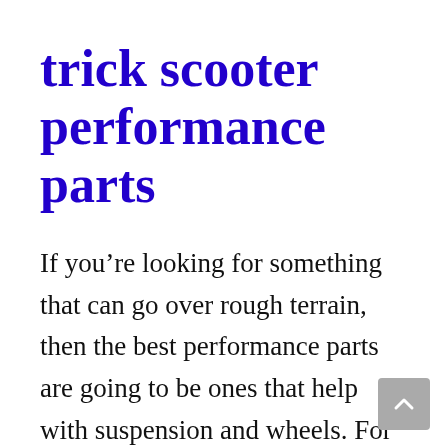trick scooter performance parts
If you’re looking for something that can go over rough terrain, then the best performance parts are going to be ones that help with suspension and wheels. For people who just want an easier time getting around town or up and down stairs without too much effort, lighter weight might be all they need.